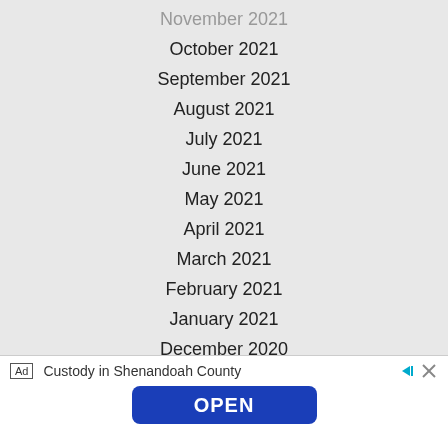November 2021
October 2021
September 2021
August 2021
July 2021
June 2021
May 2021
April 2021
March 2021
February 2021
January 2021
December 2020
November 2020
Ad   Custody in Shenandoah County   OPEN